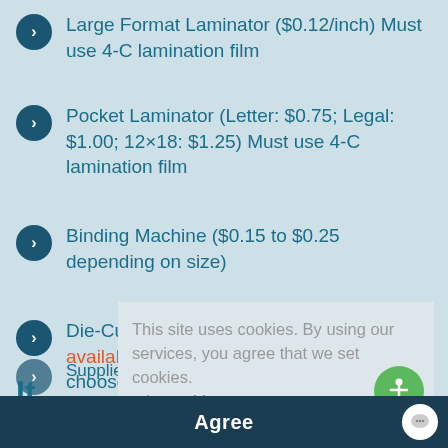Large Format Laminator ($0.12/inch) Must use 4-C lamination film
Pocket Laminator (Letter: $0.75; Legal: $1.00; 12×18: $1.25) Must use 4-C lamination film
Binding Machine ($0.15 to $0.25 depending on size)
Die-Cut Machine (list of die shapes available) No fees to use unless you choose to purchase paper
It
This site uses cookies. By using our services, you agree that we set cookies. Learn More
Supplies including paper (copy, construction
Agree